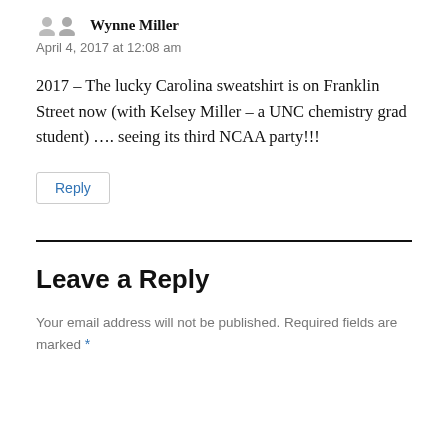Wynne Miller
April 4, 2017 at 12:08 am
2017 – The lucky Carolina sweatshirt is on Franklin Street now (with Kelsey Miller – a UNC chemistry grad student) …. seeing its third NCAA party!!!
Reply
Leave a Reply
Your email address will not be published. Required fields are marked *